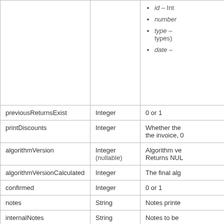| Field | Type | Description |
| --- | --- | --- |
|  |  | • id – Int
• number
• type – types)
• date – |
| previousReturnsExist | Integer | 0 or 1 |
| printDiscounts | Integer | Whether the the invoice, 0 |
| algorithmVersion | Integer (nullable) | Algorithm ve Returns NUL |
| algorithmVersionCalculated | Integer | The final alg |
| confirmed | Integer | 0 or 1 |
| notes | String | Notes printe |
| internalNotes | String | Notes to be users |